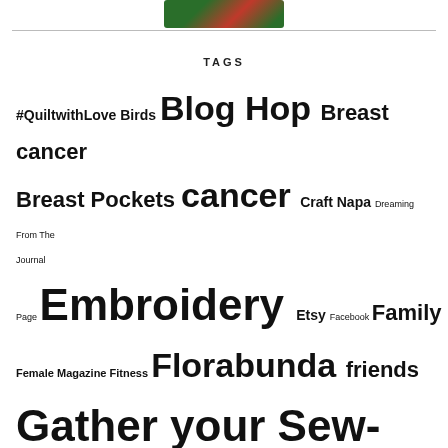[Figure (illustration): Partial view of a decorative book or product with red and green colors at top of page]
TAGS
#QuiltwithLove Birds Blog Hop Breast cancer Breast Pockets cancer Craft Napa Dreaming From The Journal Page Embroidery Etsy Facebook Family Female Magazine Fitness Florabunda friends Gather your Sew-plies!! Give Away Hand Printed Hand Sewing Inspiration Instagram Journaling Meadowlark Melly Marks Multicolor